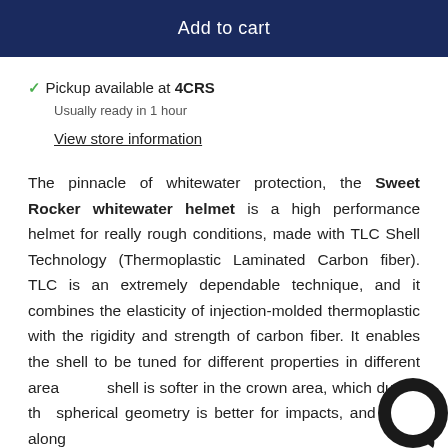Add to cart
✓ Pickup available at 4CRS
Usually ready in 1 hour
View store information
The pinnacle of whitewater protection, the Sweet Rocker whitewater helmet is a high performance helmet for really rough conditions, made with TLC Shell Technology (Thermoplastic Laminated Carbon fiber). TLC is an extremely dependable technique, and it combines the elasticity of injection-molded thermoplastic with the rigidity and strength of carbon fiber. It enables the shell to be tuned for different properties in different areas. The shell is softer in the crown area, which due to the spherical geometry is better for impacts, and stiffer along
[Figure (other): Chat bubble icon in bottom-right corner]